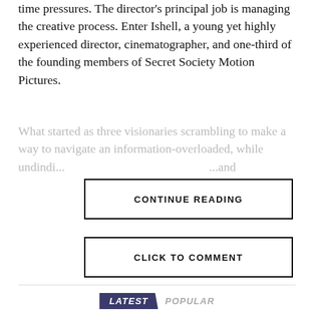time pressures. The director's principal job is managing the creative process. Enter Ishell, a young yet highly experienced director, cinematographer, and one-third of the founding members of Secret Society Motion Pictures.
What started as three visionaries scrambling to make a way to navigate an information-overloaded, while undindi... and
CONTINUE READING
CLICK TO COMMENT
LATEST   POPULAR